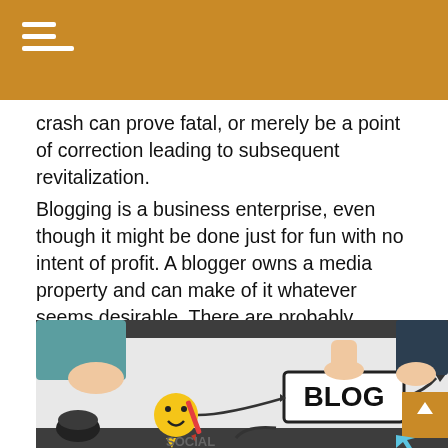crash can prove fatal, or merely be a point of correction leading to subsequent revitalization.
Blogging is a business enterprise, even though it might be done just for fun with no intent of profit. A blogger owns a media property and can make of it whatever seems desirable. There are probably thousands of inactive or seldom updated blogs. Why do some blogs blossom and flourish, while others don't? I believe the answer lies in the depth of commitment that the blogger brings to the enterprise.
[Figure (photo): Hands around a piece of paper with BLOG written in a box, with arrows and a smiley face icon, social media concept diagram on a table]